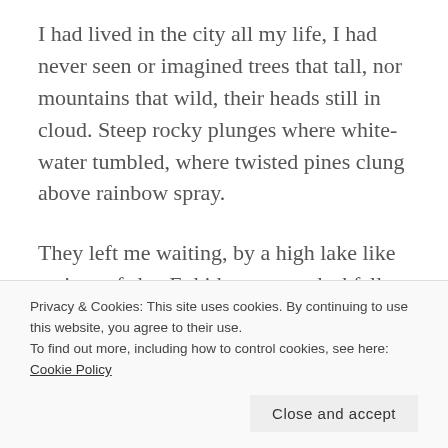I had lived in the city all my life, I had never seen or imagined trees that tall, nor mountains that wild, their heads still in cloud. Steep rocky plunges where white-water tumbled, where twisted pines clung above rainbow spray.
They left me waiting, by a high lake like a piece of sky. Enkidu came at duskfall with his people, his beasts, jostling down through
Privacy & Cookies: This site uses cookies. By continuing to use this website, you agree to their use.
To find out more, including how to control cookies, see here: Cookie Policy
Close and accept
I'd been instructed. I saw the Wild Man's head